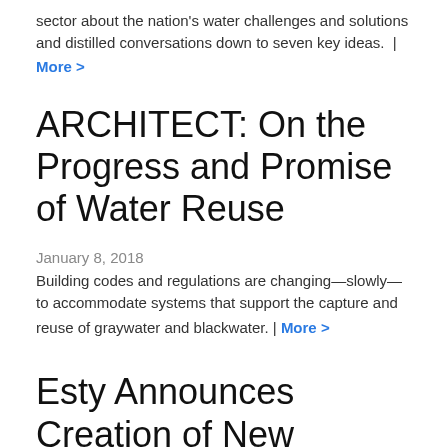sector about the nation's water challenges and solutions and distilled conversations down to seven key ideas.  |
More >
ARCHITECT: On the Progress and Promise of Water Reuse
January 8, 2018
Building codes and regulations are changing—slowly—to accommodate systems that support the capture and reuse of graywater and blackwater. | More >
Esty Announces Creation of New Bipartisan Congressional